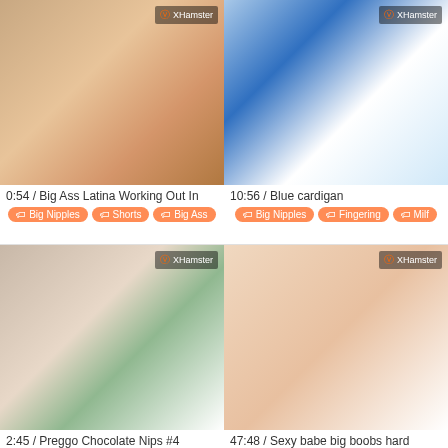[Figure (screenshot): Video thumbnail - woman in red shorts on floor, XHamster watermark]
0:54 / Big Ass Latina Working Out In
Big Nipples, Shorts, Big Ass
[Figure (screenshot): Video thumbnail - blonde woman in blue cardigan, XHamster watermark]
10:56 / Blue cardigan
Big Nipples, Fingering, Milf
[Figure (screenshot): Video thumbnail - pregnant woman near Christmas tree, XHamster watermark]
2:45 / Preggo Chocolate Nips #4
Big Nipples, Brunettes, Lingerie, Natural Tits
[Figure (screenshot): Video thumbnail - close-up, XHamster watermark]
47:48 / Sexy babe big boobs hard
Amateur, Babes, Big Nipples, Big Ass